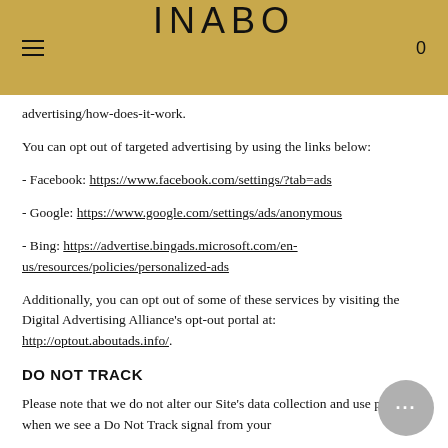INABO
advertising/how-does-it-work.
You can opt out of targeted advertising by using the links below:
- Facebook: https://www.facebook.com/settings/?tab=ads
- Google: https://www.google.com/settings/ads/anonymous
- Bing: https://advertise.bingads.microsoft.com/en-us/resources/policies/personalized-ads
Additionally, you can opt out of some of these services by visiting the Digital Advertising Alliance's opt-out portal at: http://optout.aboutads.info/.
DO NOT TRACK
Please note that we do not alter our Site's data collection and use practices when we see a Do Not Track signal from your